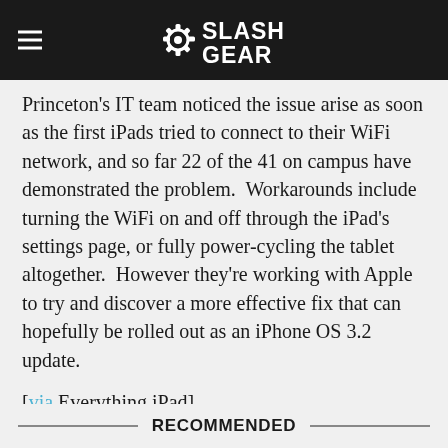SlashGear
Princeton's IT team noticed the issue arise as soon as the first iPads tried to connect to their WiFi network, and so far 22 of the 41 on campus have demonstrated the problem.  Workarounds include turning the WiFi on and off through the iPad's settings page, or fully power-cycling the tablet altogether.  However they're working with Apple to try and discover a more effective fix that can hopefully be rolled out as an iPhone OS 3.2 update.
[via Everything iPad]
[Thanks Neil!]
RECOMMENDED